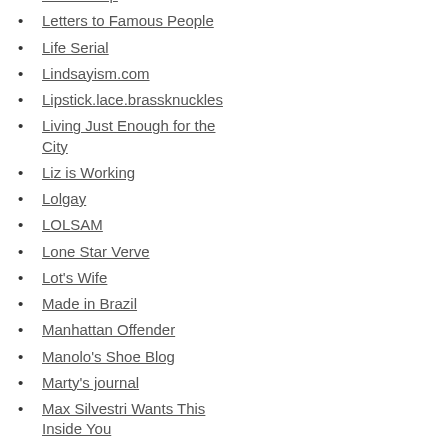Lemonurop
Letters to Famous People
Life Serial
Lindsayism.com
Lipstick.lace.brassknuckles
Living Just Enough for the City
Liz is Working
Lolgay
LOLSAM
Lone Star Verve
Lot's Wife
Made in Brazil
Manhattan Offender
Manolo's Shoe Blog
Marty's journal
Max Silvestri Wants This Inside You
Meaux's blog